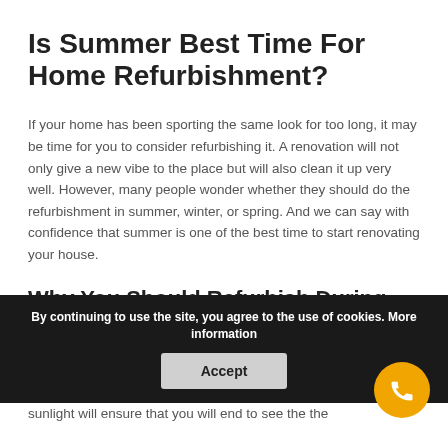Is Summer Best Time For Home Refurbishment?
If your home has been sporting the same look for too long, it may be time for you to consider refurbishing it. A renovation will not only give a new vibe to the place but will also clean it up very well. However, many people wonder whether they should do the refurbishment in summer, winter, or spring. And we can say with confidence that summer is one of the best time to start renovating your house.
Why You Should Refurbish During Summer?
The first obvious reason for renovating during summer is there is plenty of sunshine. Unlike the cold winter, weather is neither cold nor damp. Instead, the plentiful sunlight will ensure that you will end to see the the